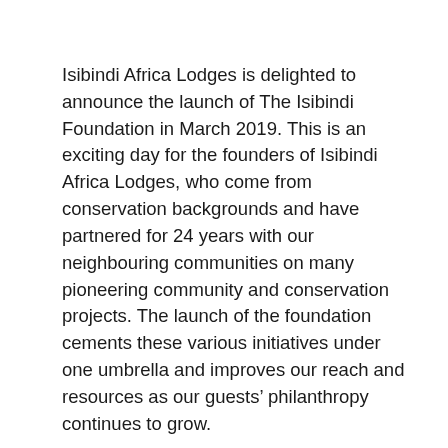Isibindi Africa Lodges is delighted to announce the launch of The Isibindi Foundation in March 2019. This is an exciting day for the founders of Isibindi Africa Lodges, who come from conservation backgrounds and have partnered for 24 years with our neighbouring communities on many pioneering community and conservation projects. The launch of the foundation cements these various initiatives under one umbrella and improves our reach and resources as our guests' philanthropy continues to grow.